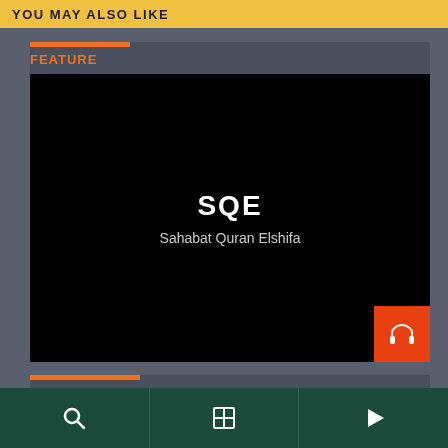YOU MAY ALSO LIKE
FEATURE
[Figure (screenshot): Black media thumbnail showing 'SQE' in large white bold text and 'Sahabat Quran Elshifa' in smaller gray text below, with an orange headphones button in the bottom-right corner]
TALK SHOW
[Figure (screenshot): Black media thumbnail area for Talk Show section]
Navigation bar with search, content, and play icons